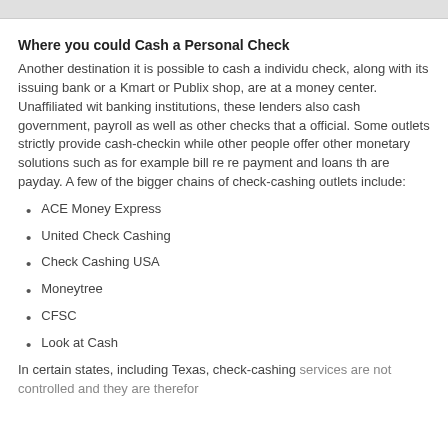Where you could Cash a Personal Check
Another destination it is possible to cash a individual check, along with its issuing bank or a Kmart or Publix shop, are at a money center. Unaffiliated with banking institutions, these lenders also cash government, payroll as well as other checks that a official. Some outlets strictly provide cash-checking while other people offer other monetary solutions such as for example bill re re payment and loans that are payday. A few of the bigger chains of check-cashing outlets include:
ACE Money Express
United Check Cashing
Check Cashing USA
Moneytree
CFSC
Look at Cash
In certain states, including Texas, check-cashing services are not controlled and they are therefor